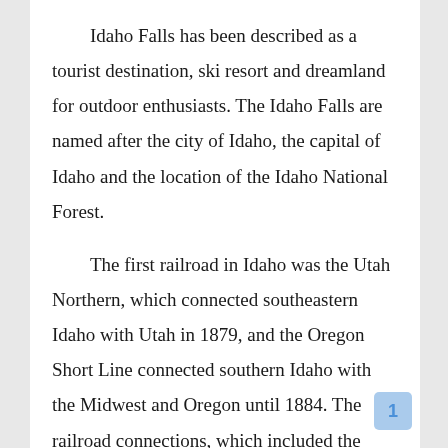Idaho Falls has been described as a tourist destination, ski resort and dreamland for outdoor enthusiasts. The Idaho Falls are named after the city of Idaho, the capital of Idaho and the location of the Idaho National Forest.
The first railroad in Idaho was the Utah Northern, which connected southeastern Idaho with Utah in 1879, and the Oregon Short Line connected southern Idaho with the Midwest and Oregon until 1884. The railroad connections, which included the